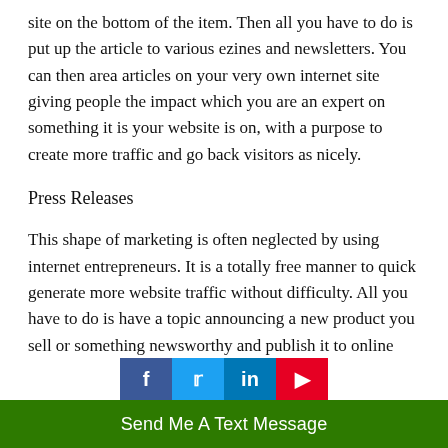site on the bottom of the item. Then all you have to do is put up the article to various ezines and newsletters. You can then area articles on your very own internet site giving people the impact which you are an expert on something it is your website is on, with a purpose to create more traffic and go back visitors as nicely.
Press Releases
This shape of marketing is often neglected by using internet entrepreneurs. It is a totally free manner to quick generate more website traffic without difficulty. All you have to do is have a topic announcing a new product you sell or something newsworthy and publish it to online press launch corporations. If it's far written well and...
Send Me A Text Message